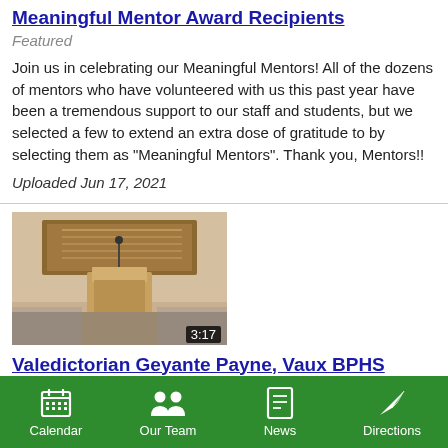Meaningful Mentor Award Recipients
Featured
Join us in celebrating our Meaningful Mentors! All of the dozens of mentors who have volunteered with us this past year have been a tremendous support to our staff and students, but we selected a few to extend an extra dose of gratitude to by selecting them as "Meaningful Mentors". Thank you, Mentors!!
Uploaded Jun 17, 2021
[Figure (screenshot): Video thumbnail showing a podium/lectern in an auditorium with a banner in the background. Duration badge shows 3:17.]
Valedictorian Geyante Payne, Vaux BPHS Class of 2021, Commencement Speech
Featured
Valedictorian Geyante Payne, located...
Calendar   Our Team   News   Directions